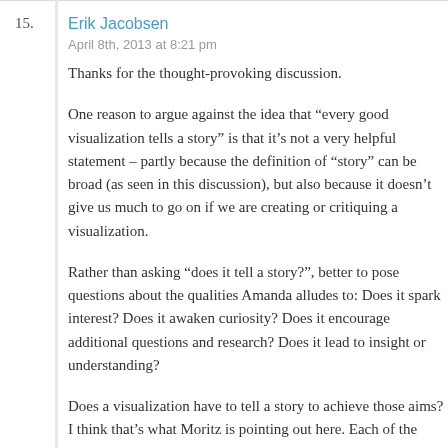15. Erik Jacobsen
April 8th, 2013 at 8:21 pm
Thanks for the thought-provoking discussion.
One reason to argue against the idea that “every good visualization tells a story” is that it’s not a very helpful statement – partly because the definition of “story” can be broad (as seen in this discussion), but also because it doesn’t give us much to go on if we are creating or critiquing a visualization.
Rather than asking “does it tell a story?”, better to pose questions about the qualities Amanda alludes to: Does it spark interest? Does it awaken curiosity? Does it encourage additional questions and research? Does it lead to insight or understanding?
Does a visualization have to tell a story to achieve those aims? I think that’s what Moritz is pointing out here. Each of the examples presented does those things without telling an explicit story.